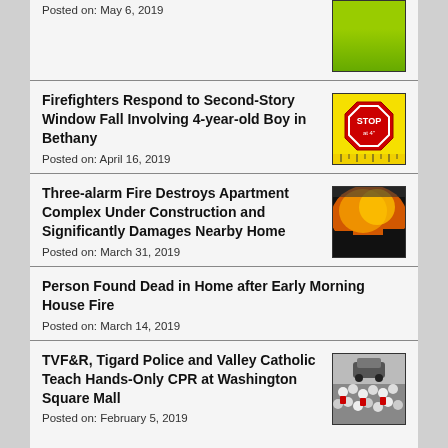Posted on: May 6, 2019
[Figure (photo): Aerial/overhead photo of green grass or field]
Firefighters Respond to Second-Story Window Fall Involving 4-year-old Boy in Bethany
Posted on: April 16, 2019
[Figure (photo): Yellow and red safety sign reading STOP at 4 inches]
Three-alarm Fire Destroys Apartment Complex Under Construction and Significantly Damages Nearby Home
Posted on: March 31, 2019
[Figure (photo): Large fire with orange flames and dark smoke at night]
Person Found Dead in Home after Early Morning House Fire
Posted on: March 14, 2019
TVF&R, Tigard Police and Valley Catholic Teach Hands-Only CPR at Washington Square Mall
Posted on: February 5, 2019
[Figure (photo): Crowd of people at CPR training event at Washington Square Mall]